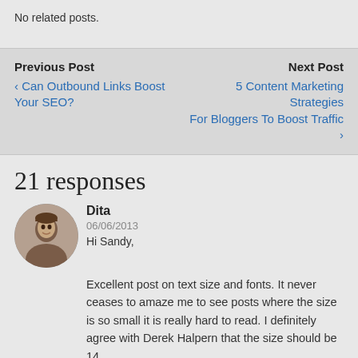No related posts.
Previous Post
‹ Can Outbound Links Boost Your SEO?
Next Post
5 Content Marketing Strategies For Bloggers To Boost Traffic ›
21 responses
Dita
06/06/2013
Hi Sandy,
Excellent post on text size and fonts. It never ceases to amaze me to see posts where the size is so small it is really hard to read. I definitely agree with Derek Halpern that the size should be 14.
Also, I noticed that some themes do not use the pure black color for the ink but rather they use gray-black. It just is not clearly visible.
For my text on my blog I use 14px for the size, Verdana for the font and #000000 for the color.